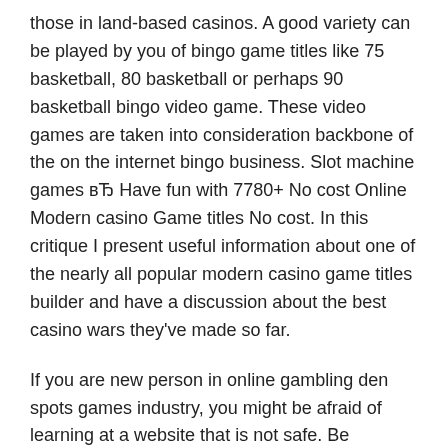those in land-based casinos. A good variety can be played by you of bingo game titles like 75 basketball, 80 basketball or perhaps 90 basketball bingo video game. These video games are taken into consideration backbone of the on the internet bingo business. Slot machine games вЂ Have fun with 7780+ No cost Online Modern casino Game titles No cost. In this critique I present useful information about one of the nearly all popular modern casino game titles builder and have a discussion about the best casino wars they've made so far.
If you are new person in online gambling den spots games industry, you might be afraid of learning at a website that is not safe. Be successful or perhaps lose possess pleasure doing it. What you must perform is definitely include a approach before placing your cash in a position device. A week later Then, released another announcement that took again most of of these extras highly regarded just as even more day and even more people. Also casino chat hosts are accessible in virtual